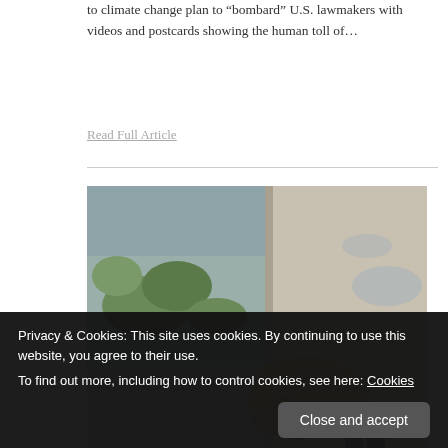to climate change plan to “bombard” U.S. lawmakers with videos and postcards showing the human toll of…
Read Full Article
[Figure (photo): Aerial or elevated view of a flooded area with sandbags and drainage pipes along a barrier wall, with green fields and flood water visible]
Why People in a Flooded British Town
Privacy & Cookies: This site uses cookies. By continuing to use this website, you agree to their use. To find out more, including how to control cookies, see here: Cookies
Close and accept
homes were evacuated. Curiously, the advice…